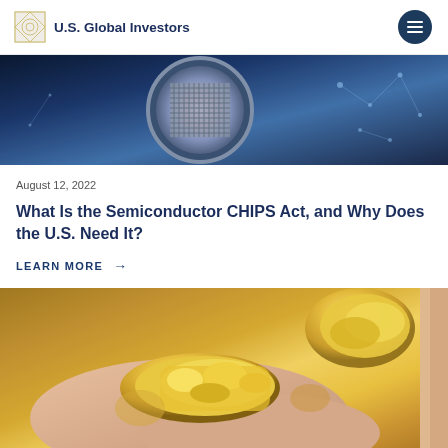U.S. Global Investors
[Figure (photo): Close-up of a semiconductor wafer on electronic equipment with circuit board elements and network visualization in the background, blue-toned industrial imagery]
August 12, 2022
What Is the Semiconductor CHIPS Act, and Why Does the U.S. Need It?
LEARN MORE →
[Figure (photo): Close-up photo of a hand holding gold nuggets/raw gold ore with more gold nuggets in the background, warm golden tones]